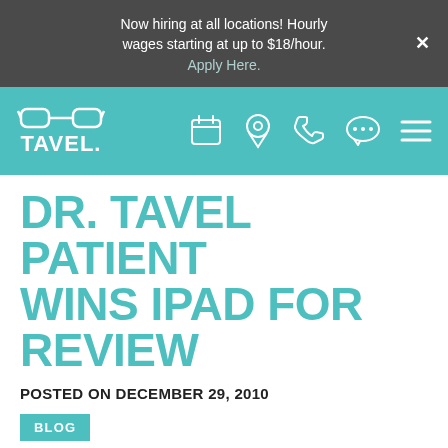Now hiring at all locations! Hourly wages starting at up to $18/hour. Apply Here.
[Figure (logo): Tavel eye care logo with navigation bar icons: calendar, location pin, phone, chat, menu]
DR. TAVEL PATIENT WINS IPAD FOR REVIEW
POSTED ON DECEMBER 29, 2010
BLOG
Barbara Barker of Greenwood, IN recently won